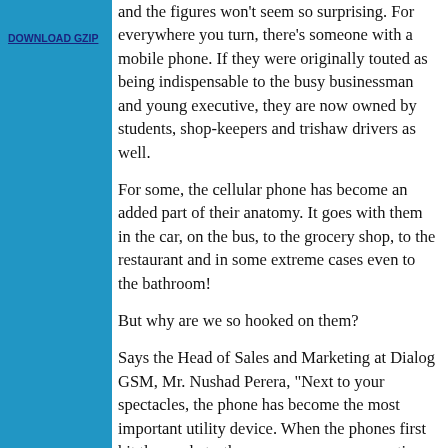DOWNLOAD GZIP
and the figures won't seem so surprising. For everywhere you turn, there's someone with a mobile phone. If they were originally touted as being indispensable to the busy businessman and young executive, they are now owned by students, shop-keepers and trishaw drivers as well.
For some, the cellular phone has become an added part of their anatomy. It goes with them in the car, on the bus, to the grocery shop, to the restaurant and in some extreme cases even to the bathroom!
But why are we so hooked on them?
Says the Head of Sales and Marketing at Dialog GSM, Mr. Nushad Perera, "Next to your spectacles, the phone has become the most important utility device. When the phones first hit the market - they were seen as a cosmetic device; you'd most probably have seen phones propped up on tables at restaurants for all the world to see. But now people simply purchase mobile phones because they want to be in